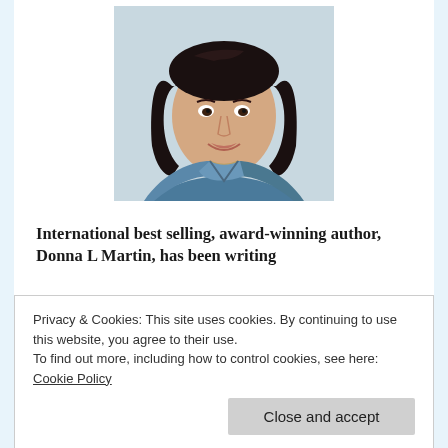[Figure (photo): Portrait photo of a woman with dark hair, smiling, wearing a blue top]
International best selling, award-winning author, Donna L Martin, has been writing
Privacy & Cookies: This site uses cookies. By continuing to use this website, you agree to their use.
To find out more, including how to control cookies, see here:
Cookie Policy

Close and accept
NOOK REVIEWS host providing the latest